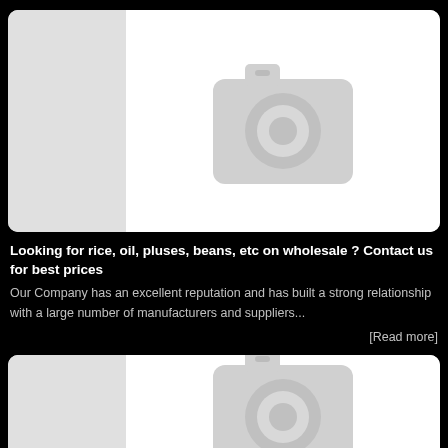[Figure (illustration): Placeholder card with camera icon - light gray left panel and white right panel with gray camera placeholder icon]
Looking for rice, oil, pluses, beans, etc on wholesale ? Contact us for best prices
Our Company has an excellent reputation and has built a strong relationship with a large number of manufacturers and suppliers...
[Read more]
[Figure (illustration): Second placeholder card with camera icon - partially visible at bottom of page]